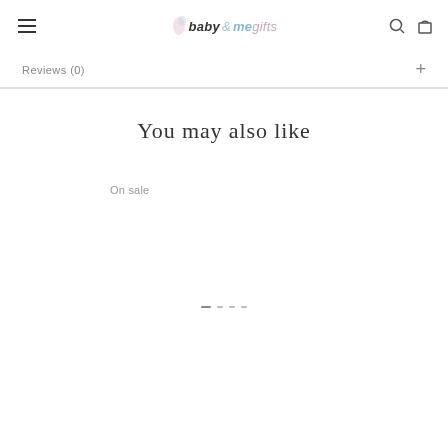baby & me gifts
Reviews (0)
You may also like
On sale